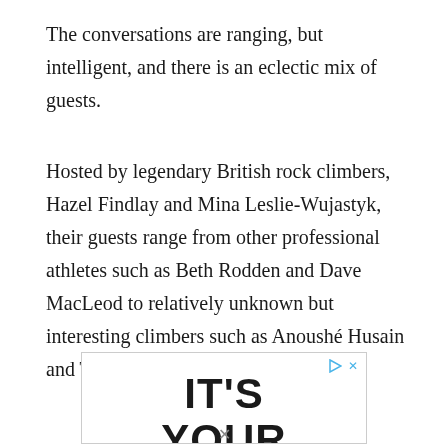The conversations are ranging, but intelligent, and there is an eclectic mix of guests.
Hosted by legendary British rock climbers, Hazel Findlay and Mina Leslie-Wujastyk, their guests range from other professional athletes such as Beth Rodden and Dave MacLeod to relatively unknown but interesting climbers such as Anoushé Husain and Trevor Masiah.
[Figure (other): Advertisement banner showing text 'IT'S YOUR MOVE' in bold, with play and close icons in top right corner. The word MOVE appears cut off at bottom with blue underline styling.]